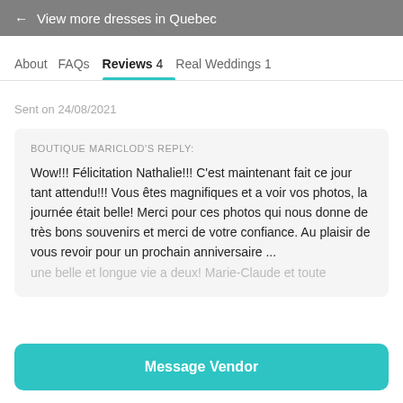← View more dresses in Quebec
About   FAQs   Reviews 4   Real Weddings 1
Sent on 24/08/2021
BOUTIQUE MARICLOD'S REPLY:
Wow!!! Félicitation Nathalie!!! C'est maintenant fait ce jour tant attendu!!! Vous êtes magnifiques et a voir vos photos, la journée était belle! Merci pour ces photos qui nous donne de très bons souvenirs et merci de votre confiance. Au plaisir de vous revoir pour un prochain anniversaire ... une belle et longue vie a deux! Marie-Claude et toute
Message Vendor